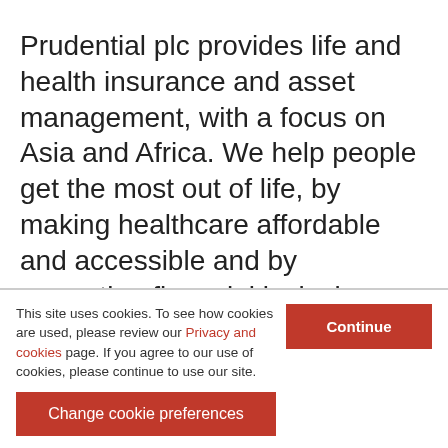Prudential plc provides life and health insurance and asset management, with a focus on Asia and Africa. We help people get the most out of life, by making healthcare affordable and accessible and by promoting financial inclusion. We protect people's wealth, help them grow their assets, and empower them to save for their goals. The
This site uses cookies. To see how cookies are used, please review our Privacy and cookies page. If you agree to our use of cookies, please continue to use our site.
Continue
Change cookie preferences